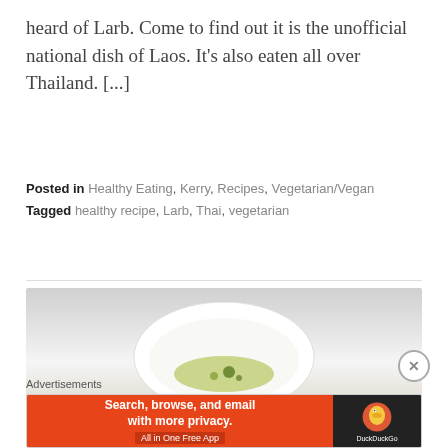heard of Larb. Come to find out it is the unofficial national dish of Laos. It's also eaten all over Thailand. [...]
Posted in Healthy Eating, Kerry, Recipes, Vegetarian/Vegan
Tagged healthy recipe, Larb, Thai, vegetarian
[Figure (photo): Partial view of a white bowl containing what appears to be a green/yellow dish (Larb), photographed from above on a white/grey background.]
Advertisements
[Figure (screenshot): DuckDuckGo advertisement banner: orange/red background with text 'Search, browse, and email with more privacy. All in One Free App' and DuckDuckGo logo on dark background.]